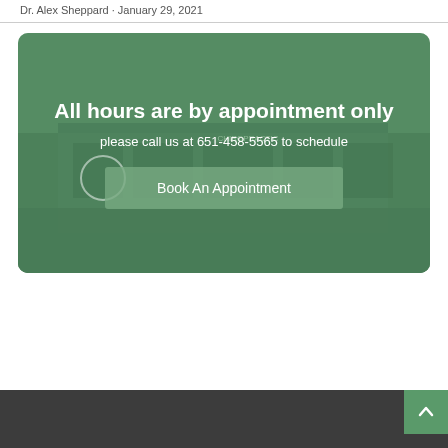Dr. Alex Sheppard · January 29, 2021
[Figure (photo): Green-tinted banner with a background photo of a medical/chiropractic office building exterior, overlaid with white text and a button reading 'Book An Appointment']
All hours are by appointment only
please call us at 651-458-5565 to schedule
Book An Appointment
Back to top arrow button